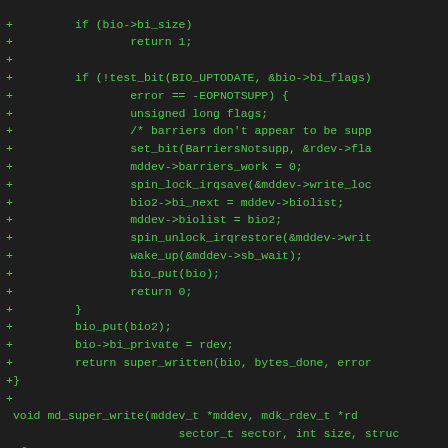[Figure (screenshot): Diff/patch view of C source code showing additions to md_super_write and related functions in a Linux kernel or RAID driver. Added lines (prefixed with +) are shown in green monospace font on a dark background. Includes code snippets for bio handling, spin locks, barriers, and function signatures.]